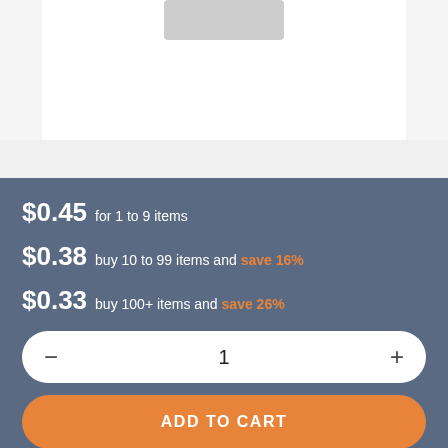[Figure (photo): Product image area showing a partially visible product at the top on a white background]
$0.45 for 1 to 9 items
$0.38 buy 10 to 99 items and save 16%
$0.33 buy 100+ items and save 26%
1
ADD TO CART
Volume pricing available on request